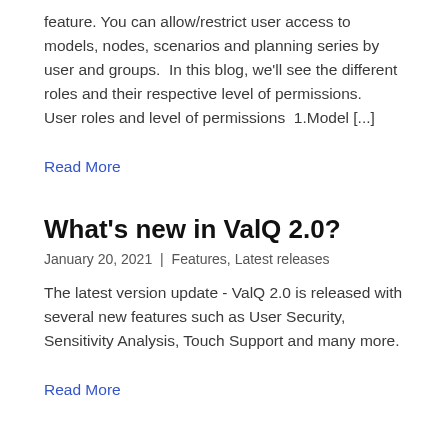feature. You can allow/restrict user access to models, nodes, scenarios and planning series by user and groups.  In this blog, we'll see the different roles and their respective level of permissions.   User roles and level of permissions  1.Model [...]
Read More
What's new in ValQ 2.0?
January 20, 2021 | Features, Latest releases
The latest version update - ValQ 2.0 is released with several new features such as User Security, Sensitivity Analysis, Touch Support and many more.
Read More